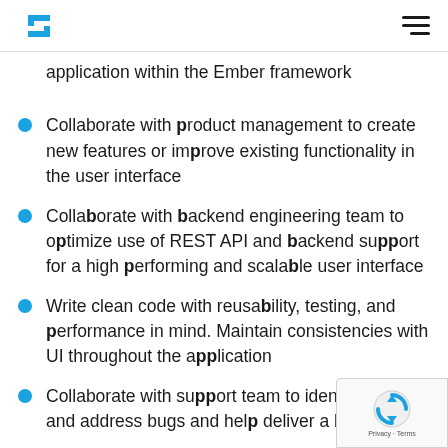S logo and navigation menu
application within the Ember framework
Collaborate with product management to create new features or improve existing functionality in the user interface
Collaborate with backend engineering team to optimize use of REST API and backend support for a high performing and scalable user interface
Write clean code with reusability, testing, and performance in mind. Maintain consistencies with UI throughout the application
Collaborate with support team to identify and address bugs and help deliver a high